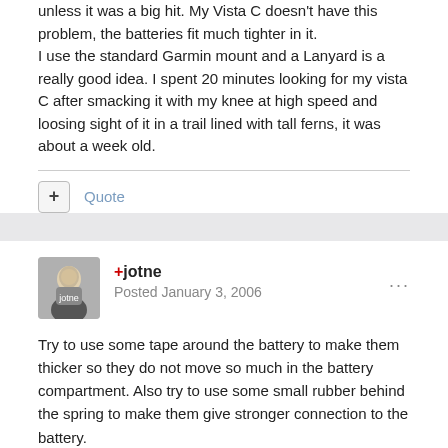unless it was a big hit. My Vista C doesn't have this problem, the batteries fit much tighter in it.
I use the standard Garmin mount and a Lanyard is a really good idea. I spent 20 minutes looking for my vista C after smacking it with my knee at high speed and loosing sight of it in a trail lined with tall ferns, it was about a week old.
Quote
+jotne
Posted January 3, 2006
Try to use some tape around the battery to make them thicker so they do not move so much in the battery compartment. Also try to use some small rubber behind the spring to make them give stronger connection to the battery.
This has been discussed her before as a good solution. I did use it on my old 76S with good results.